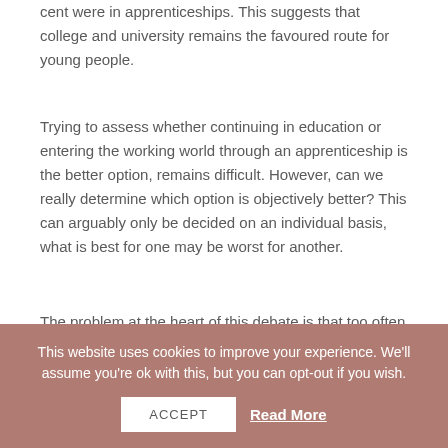cent were in apprenticeships. This suggests that college and university remains the favoured route for young people.
Trying to assess whether continuing in education or entering the working world through an apprenticeship is the better option, remains difficult. However, can we really determine which option is objectively better? This can arguably only be decided on an individual basis, what is best for one may be worst for another.
The problem at the heart of this debate is that too often the route a young person chooses is the result of financial concerns. Those going to university are not necessarily the highest academic achievers. With the
This website uses cookies to improve your experience. We'll assume you're ok with this, but you can opt-out if you wish.